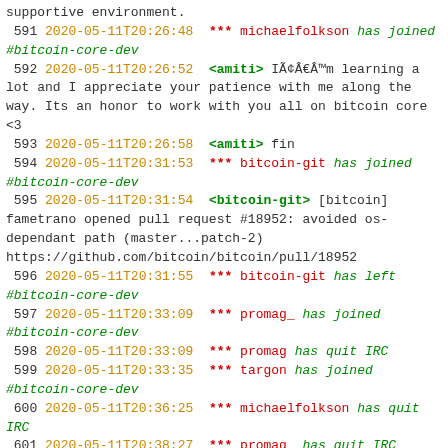supportive environment.
591 2020-05-11T20:26:48 *** michaelfolkson has joined #bitcoin-core-dev
592 2020-05-11T20:26:52 <amiti> IÃ¢Â€Â™m learning a lot and I appreciate your patience with me along the way. Its an honor to work with you all on bitcoin core <3
593 2020-05-11T20:26:58 <amiti> fin
594 2020-05-11T20:31:53 *** bitcoin-git has joined #bitcoin-core-dev
595 2020-05-11T20:31:54 <bitcoin-git> [bitcoin] fametrano opened pull request #18952: avoided os-dependant path (master...patch-2) https://github.com/bitcoin/bitcoin/pull/18952
596 2020-05-11T20:31:55 *** bitcoin-git has left #bitcoin-core-dev
597 2020-05-11T20:33:09 *** promag_ has joined #bitcoin-core-dev
598 2020-05-11T20:33:09 *** promag has quit IRC
599 2020-05-11T20:33:35 *** targon has joined #bitcoin-core-dev
600 2020-05-11T20:36:25 *** michaelfolkson has quit IRC
601 2020-05-11T20:38:27 *** promag_ has quit IRC
602 2020-05-11T20:39:04 *** promag has joined #bitcoin-core-dev
603 2020-05-11T20:44:29 *** promag_ has joined #bitcoin-core-dev